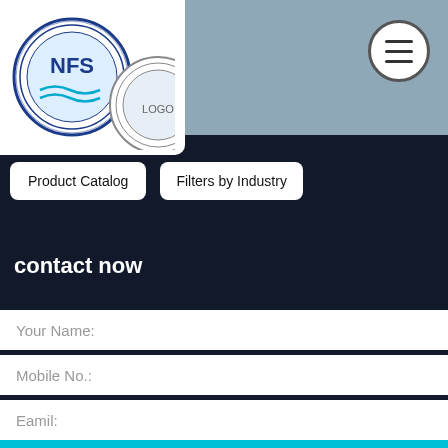[Figure (logo): NFS company logo with circular emblem showing letters NFS and water waves, alongside a partial second circular logo]
Product Catalog
Filters by Industry
contact now
Your Name:
Mobile No.:
Eamil:
Message: